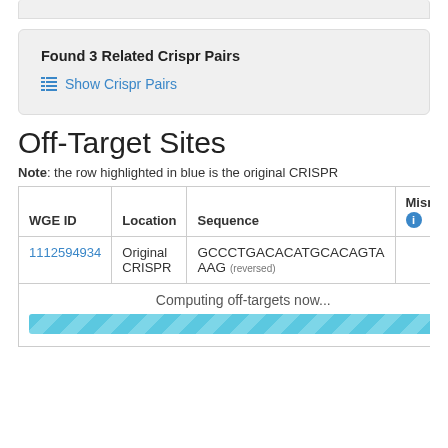Found 3 Related Crispr Pairs
Show Crispr Pairs
Off-Target Sites
Note: the row highlighted in blue is the original CRISPR
| WGE ID | Location | Sequence | Mismatch |
| --- | --- | --- | --- |
| 1112594934 | Original CRISPR | GCCCTGACACATGCACAGTA AAG (reversed) |  |
Computing off-targets now...